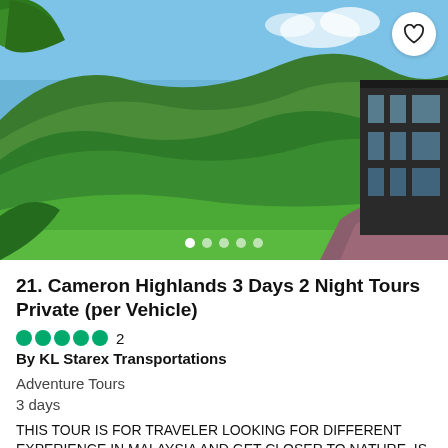[Figure (photo): Scenic view of Cameron Highlands green tea plantation hills with a building on the right side, blue sky, and lush tropical vegetation in the foreground.]
21. Cameron Highlands 3 Days 2 Night Tours Private (per Vehicle)
2
By KL Starex Transportations
Adventure Tours
3 days
THIS TOUR IS FOR TRAVELER LOOKING FOR DIFFERENT EXPERIENCE IN MALAYSIA AND GET CLOSER TO NATURE. IS A